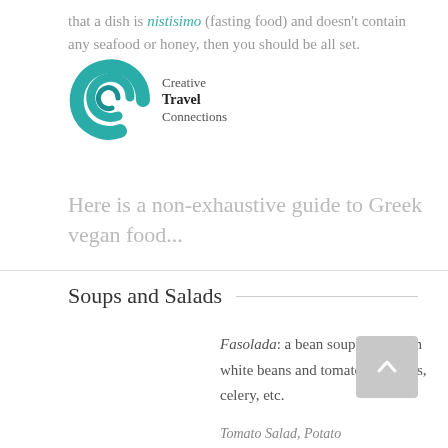that a dish is nistisimo (fasting food) and doesn't contain any seafood or honey, then you should be all set.
[Figure (logo): Creative Travel Connections logo with teal wave/leaf graphic and text]
Here is a non-exhaustive guide to Greek vegan food...
Soups and Salads
Fasolada: a bean soup made with white beans and tomatoes, carrots, celery, etc.
Tomato Salad, Potato